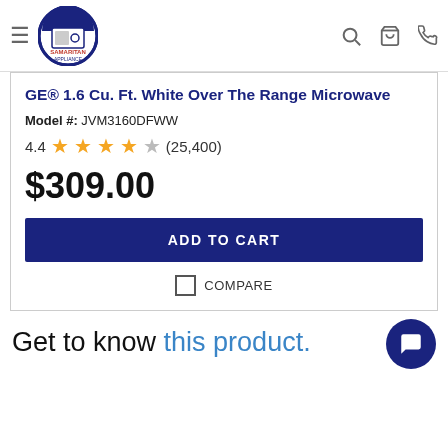Samaritan Appliance - navigation header with logo, search, cart, phone icons
GE® 1.6 Cu. Ft. White Over The Range Microwave
Model #: JVM3160DFWW
4.4 stars (25,400)
$309.00
ADD TO CART
COMPARE
Get to know this product.